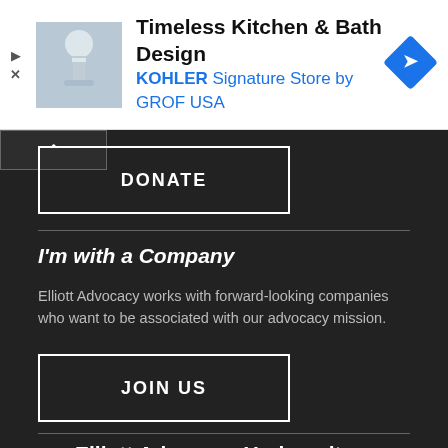[Figure (screenshot): Advertisement banner: Timeless Kitchen & Bath Design - KOHLER Signature Store by GROF USA, with photo of bathroom fixture and blue navigation arrow icon]
DONATE
I'm with a Company
Elliott Advocacy works with forward-looking companies who want to be associated with our advocacy mission.
JOIN US
Elliott Advocacy Underwriters